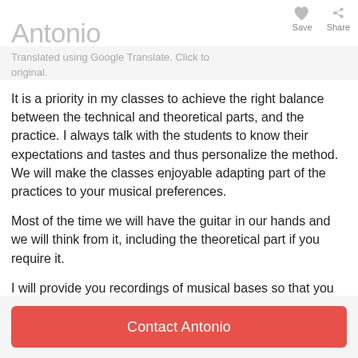Antonio  Save  Share
Translated using Google Translate. Click to original.
It is a priority in my classes to achieve the right balance between the technical and theoretical parts, and the practice. I always talk with the students to know their expectations and tastes and thus personalize the method. We will make the classes enjoyable adapting part of the practices to your musical preferences.
Most of the time we will have the guitar in our hands and we will think from it, including the theoretical part if you require it.
I will provide you recordings of musical bases so that you can practice on them.
I also use as class material several books that I have collected over the years.
Contact Antonio